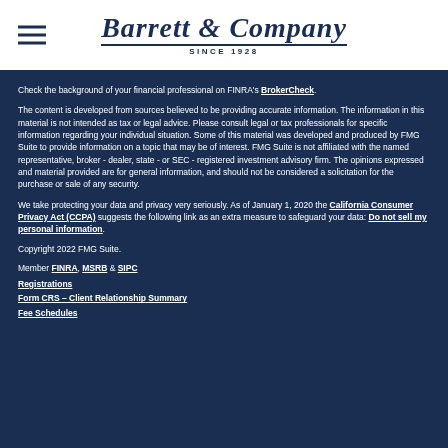[Figure (logo): Barrett & Company Since 1928 logo with hamburger menu icon on the left]
Check the background of your financial professional on FINRA's BrokerCheck.
The content is developed from sources believed to be providing accurate information. The information in this material is not intended as tax or legal advice. Please consult legal or tax professionals for specific information regarding your individual situation. Some of this material was developed and produced by FMG Suite to provide information on a topic that may be of interest. FMG Suite is not affiliated with the named representative, broker - dealer, state - or SEC - registered investment advisory firm. The opinions expressed and material provided are for general information, and should not be considered a solicitation for the purchase or sale of any security.
We take protecting your data and privacy very seriously. As of January 1, 2020 the California Consumer Privacy Act (CCPA) suggests the following link as an extra measure to safeguard your data: Do not sell my personal information.
Copyright 2022 FMG Suite.
Member FINRA, MSRB & SIPC
Registrations
Form CRS – Client Relationship Summary
Fee Schedules